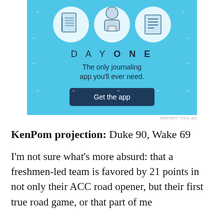[Figure (illustration): Advertisement for Day One journaling app. Blue background with illustrated icons of a notebook, a person holding a phone, and a document. Text reads DAY ONE - The only journaling app you'll ever need. Button: Get the app.]
REPORT THIS AD
KenPom projection: Duke 90, Wake 69
I'm not sure what's more absurd: that a freshmen-led team is favored by 21 points in not only their ACC road opener, but their first true road game, or that part of me